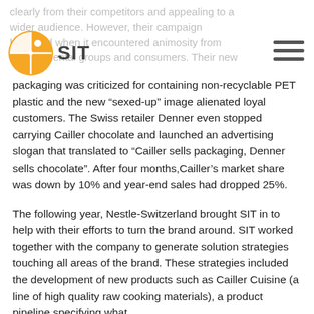clearly from their competitors and appealing to a wider audience. However, their campaign backfired when it encountered animosity from environmental groups and consumers. Their new
[Figure (logo): SIT company logo — orange circle with white quarter-circle and dot, with text 'SIT' beside it]
packaging was criticized for containing non-recyclable PET plastic and the new “sexed-up” image alienated loyal customers. The Swiss retailer Denner even stopped carrying Cailler chocolate and launched an advertising slogan that translated to “Cailler sells packaging, Denner sells chocolate”. After four months,Cailler’s market share was down by 10% and year-end sales had dropped 25%.
The following year, Nestle-Switzerland brought SIT in to help with their efforts to turn the brand around. SIT worked together with the company to generate solution strategies touching all areas of the brand. These strategies included the development of new products such as Cailler Cuisine (a line of high quality raw cooking materials), a product pipeline specifying what